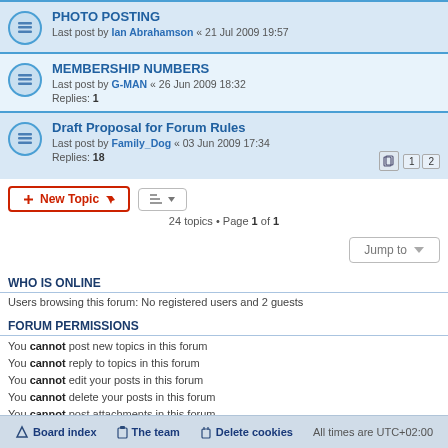PHOTO POSTING — Last post by Ian Abrahamson « 21 Jul 2009 19:57
MEMBERSHIP NUMBERS — Last post by G-MAN « 26 Jun 2009 18:32 — Replies: 1
Draft Proposal for Forum Rules — Last post by Family_Dog « 03 Jun 2009 17:34 — Replies: 18
24 topics • Page 1 of 1
WHO IS ONLINE
Users browsing this forum: No registered users and 2 guests
FORUM PERMISSIONS
You cannot post new topics in this forum
You cannot reply to topics in this forum
You cannot edit your posts in this forum
You cannot delete your posts in this forum
You cannot post attachments in this forum
Board index   The team   Delete cookies   All times are UTC+02:00